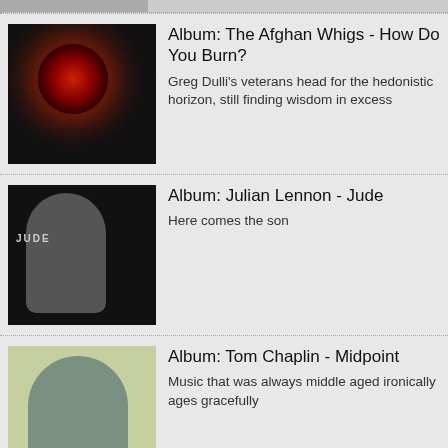[Figure (photo): Partial album art visible at very top]
Album: The Afghan Whigs - How Do You Burn?
Greg Dulli's veterans head for the hedonistic horizon, still finding wisdom in excess
Album: Julian Lennon - Jude
Here comes the son
Album: Tom Chaplin - Midpoint
Music that was always middle aged ironically ages gracefully
Album: Two Door Cinema Club - Keep On Smiling
An uneven return, but a passing grade for the electronic-infused indie trio
Dope Lemon, O2 Academy, Birmingham review - cosmic cowboys bring the house down
Angus Stone's long delayed UK tour finally kicks off in Birmingham